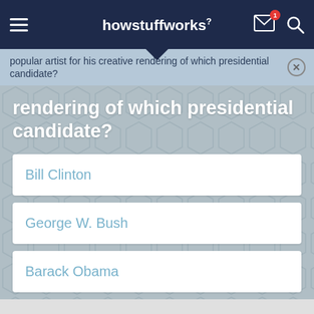howstuffworks²
popular artist for his creative rendering of which presidential candidate?
Bill Clinton
George W. Bush
Barack Obama